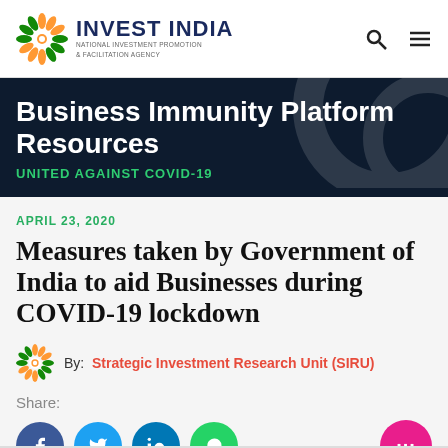INVEST INDIA — NATIONAL INVESTMENT PROMOTION & FACILITATION AGENCY
[Figure (logo): Invest India logo with sun-wheel emblem and text]
Business Immunity Platform Resources
UNITED AGAINST COVID-19
APRIL 23, 2020
Measures taken by Government of India to aid Businesses during COVID-19 lockdown
By: Strategic Investment Research Unit (SIRU)
Share: